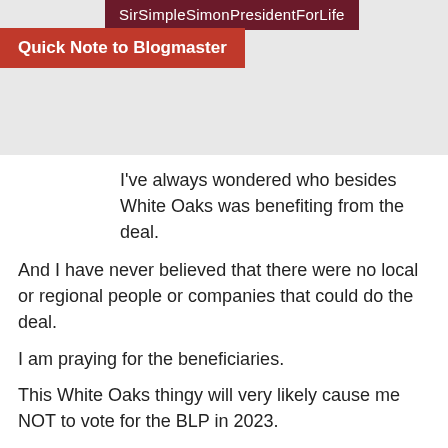SirSimpleSimonPresidentForLife
Quick Note to Blogmaster
I've always wondered who besides White Oaks was benefiting from the deal.
And I have never believed that there were no local or regional people or companies that could do the deal.
I am praying for the beneficiaries.
This White Oaks thingy will very likely cause me NOT to vote for the BLP in 2023.
Simple Simon